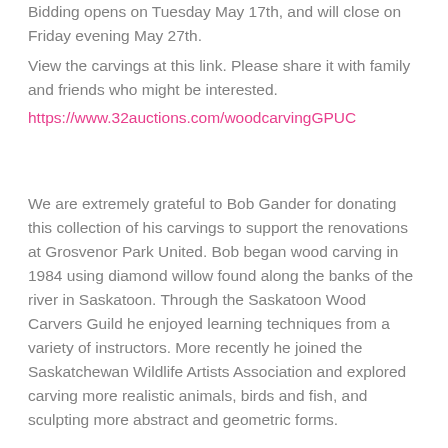Bidding opens on Tuesday May 17th, and will close on Friday evening May 27th.
View the carvings at this link. Please share it with family and friends who might be interested.
https://www.32auctions.com/woodcarvingGPUC
We are extremely grateful to Bob Gander for donating this collection of his carvings to support the renovations at Grosvenor Park United. Bob began wood carving in 1984 using diamond willow found along the banks of the river in Saskatoon. Through the Saskatoon Wood Carvers Guild he enjoyed learning techniques from a variety of instructors. More recently he joined the Saskatchewan Wildlife Artists Association and explored carving more realistic animals, birds and fish, and sculpting more abstract and geometric forms.